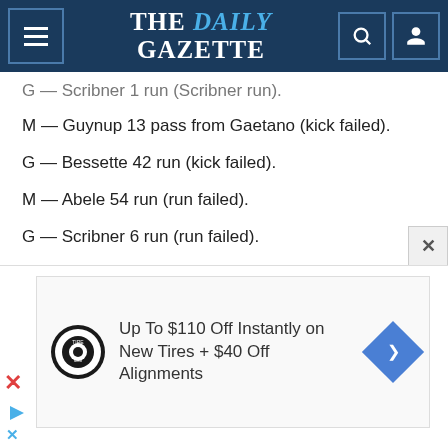THE DAILY GAZETTE
G — Scribner 1 run (Scribner run).
M — Guynup 13 pass from Gaetano (kick failed).
G — Bessette 42 run (kick failed).
M — Abele 54 run (run failed).
G — Scribner 6 run (run failed).
G — Campbell 64 pass from Hicks (Scribner run).
M — Funaro 20 run (Connors run).
[Figure (other): Advertisement: Up To $110 Off Instantly on New Tires + $40 Off Alignments — Tire & Auto logo with navigation arrow icon]